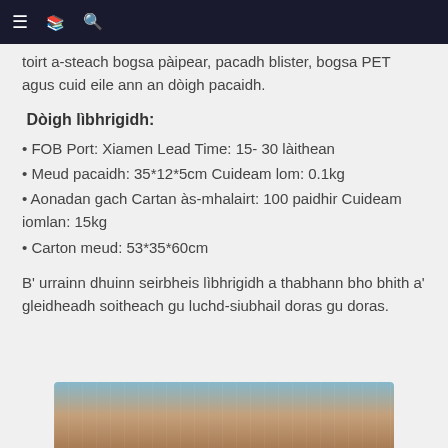≡  [icon]  🔍
toirt a-steach bogsa pàipear, pacadh blister, bogsa PET agus cuid eile ann an dòigh pacaidh.
Dòigh lìbhrigidh:
• FOB Port: Xiamen Lead Time: 15- 30 làithean
• Meud pacaidh: 35*12*5cm Cuideam lom: 0.1kg
• Aonadan gach Cartan às-mhalairt: 100 paidhir Cuideam iomlan: 15kg
• Carton meud: 53*35*60cm
B' urrainn dhuinn seirbheis lìbhrigidh a thabhann bho bhith a' gleidheadh soitheach gu luchd-siubhail doras gu doras.
[Figure (photo): Photo of a product (shoe or sandal) with blue and tan/brown colors, partially visible at bottom of page.]